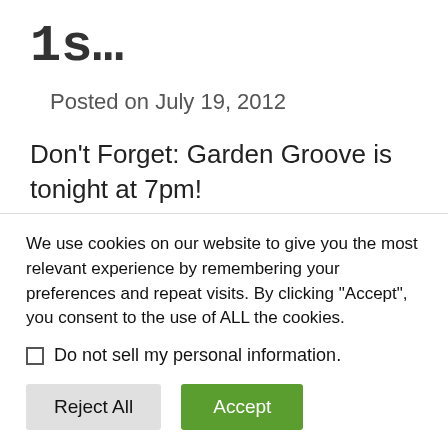1s...
Posted on July 19, 2012
Don't Forget: Garden Groove is tonight at 7pm! http://t.co/3z9qCNxc
Posted in Microblog Tagged twitter,
We use cookies on our website to give you the most relevant experience by remembering your preferences and repeat visits. By clicking “Accept”, you consent to the use of ALL the cookies.
Do not sell my personal information.